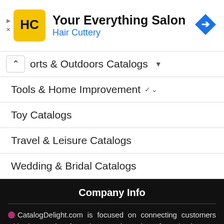[Figure (infographic): Hair Cuttery advertisement banner with yellow HC logo, title 'Your Everything Salon', subtitle 'Hair Cuttery' in blue, and a blue navigation arrow icon on the right]
Sports & Outdoors Catalogs (partially visible, with dropdown arrow)
Tools & Home Improvement (with dropdown arrow)
Toy Catalogs
Travel & Leisure Catalogs
Wedding & Bridal Catalogs
Company Info
CatalogDelight.com is focused on connecting customers with thousands of products and services from businesses around the world. We are